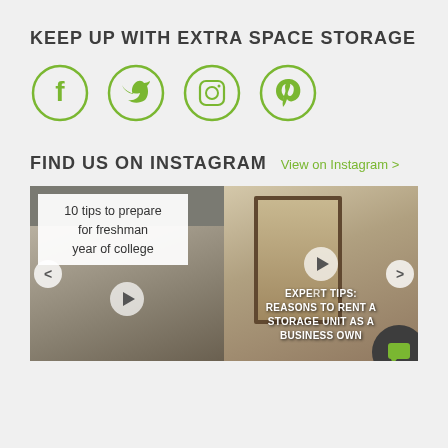KEEP UP WITH EXTRA SPACE STORAGE
[Figure (infographic): Four green circular social media icons: Facebook, Twitter, Instagram, Pinterest]
FIND US ON INSTAGRAM
View on Instagram >
[Figure (screenshot): Two Instagram video thumbnails side by side. Left: '10 tips to prepare for freshman year of college' with a hand writing in a notebook. Right: 'EXPERT TIPS: REASONS TO RENT A STORAGE UNIT AS A BUSINESS OWNER' with an interior room photo. Navigation arrows on left and right. Chat button bottom right.]